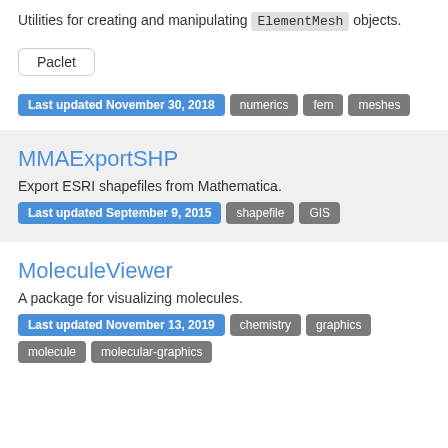Utilities for creating and manipulating ElementMesh objects.
Paclet
Last updated November 30, 2018  numerics  fem  meshes
MMAExportSHP
Export ESRI shapefiles from Mathematica.
Last updated September 9, 2015  shapefile  GIS
MoleculeViewer
A package for visualizing molecules.
Last updated November 13, 2019  chemistry  graphics  molecule  molecular-graphics